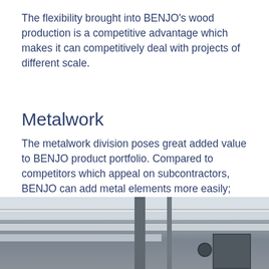The flexibility brought into BENJO's wood production is a competitive advantage which makes it can competitively deal with projects of different scale.
Metalwork
The metalwork division poses great added value to BENJO product portfolio. Compared to competitors which appeal on subcontractors, BENJO can add metal elements more easily; metal construction elements, doors and decoration elements are just a few.
In banking facilities, a field in which we have 50 years of experience, metalwork remains highly important, and therefore requires an extended knowhow and skillset.
[Figure (photo): Interior industrial/metalwork photo showing overhead pipes, ceiling structures, a vertical dark bar divider, and mechanical equipment in what appears to be a banking or commercial facility.]